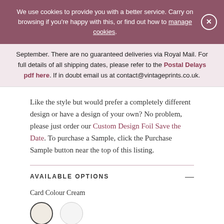We use cookies to provide you with a better service. Carry on browsing if you're happy with this, or find out how to manage cookies.
September. There are no guaranteed deliveries via Royal Mail. For full details of all shipping dates, please refer to the Postal Delays pdf here. If in doubt email us at contact@vintageprints.co.uk.
Like the style but would prefer a completely different design or have a design of your own? No problem, please just order our Custom Design Foil Save the Date. To purchase a Sample, click the Purchase Sample button near the top of this listing.
AVAILABLE OPTIONS
Card Colour Cream